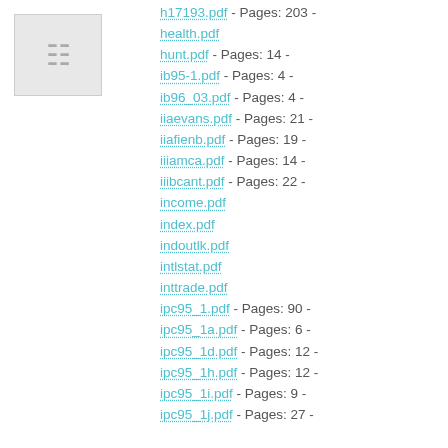[Figure (other): Thumbnail placeholder icon (document icon) with light gray background]
h17193.pdf - Pages: 203 -
health.pdf
hunt.pdf - Pages: 14 -
ib95-1.pdf - Pages: 4 -
ib96_03.pdf - Pages: 4 -
iiaevans.pdf - Pages: 21 -
iiafienb.pdf - Pages: 19 -
iiiamca.pdf - Pages: 14 -
iiibcant.pdf - Pages: 22 -
income.pdf
index.pdf
indoutlk.pdf
intlstat.pdf
inttrade.pdf
ipc95_1.pdf - Pages: 90 -
ipc95_1a.pdf - Pages: 6 -
ipc95_1d.pdf - Pages: 12 -
ipc95_1h.pdf - Pages: 12 -
ipc95_1i.pdf - Pages: 9 -
ipc95_1j.pdf - Pages: 27 -